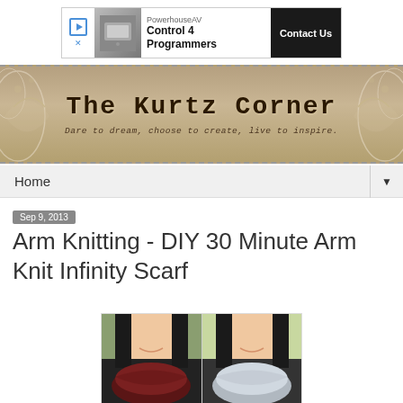[Figure (other): Advertisement banner: PowerhouseAV Control 4 Programmers with Contact Us button]
[Figure (other): The Kurtz Corner blog header banner with decorative burlap texture and flourish design. Subtitle: Dare to dream, choose to create, live to inspire.]
Home ▼
Sep 9, 2013
Arm Knitting - DIY 30 Minute Arm Knit Infinity Scarf
[Figure (photo): Two side-by-side photos of a woman wearing arm-knit infinity scarves: left shows a dark red/burgundy chunky knit scarf, right shows a light grey chunky knit scarf.]